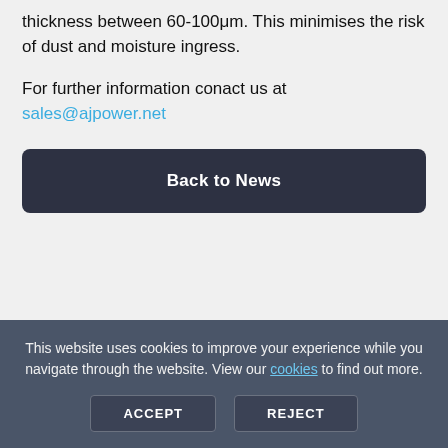before powder coated using polyester powder to a thickness between 60-100μm. This minimises the risk of dust and moisture ingress.
For further information conact us at sales@ajpower.net
Back to News
This website uses cookies to improve your experience while you navigate through the website. View our cookies to find out more.
ACCEPT
REJECT